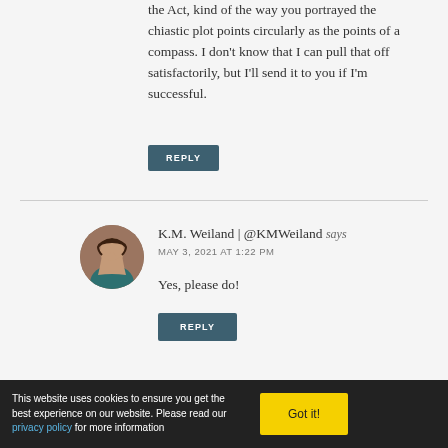the Act, kind of the way you portrayed the chiastic plot points circularly as the points of a compass. I don't know that I can pull that off satisfactorily, but I'll send it to you if I'm successful.
REPLY
K.M. Weiland | @KMWeiland says
MAY 3, 2021 AT 1:22 PM
Yes, please do!
REPLY
This website uses cookies to ensure you get the best experience on our website. Please read our privacy policy for more information
Got it!